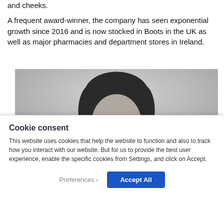and cheeks.
A frequent award-winner, the company has seen exponential growth since 2016 and is now stocked in Boots in the UK as well as major pharmacies and department stores in Ireland.
[Figure (photo): Black and white portrait photo of a woman with dark hair pulled back, looking towards camera, cropped at the face/head level.]
Cookie consent
This website uses cookies that help the website to function and also to track how you interact with our website. But for us to provide the best user experience, enable the specific cookies from Settings, and click on Accept.